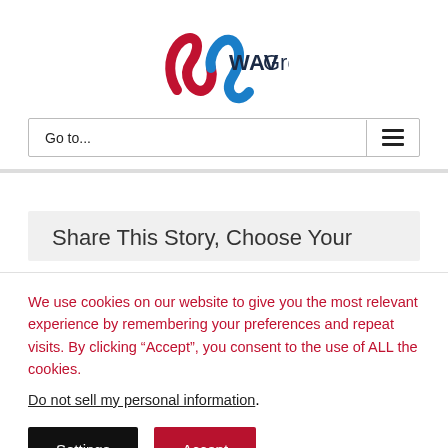[Figure (logo): WAV Group logo with stylized blue and red ribbon W mark and WAVGroup text in dark navy]
Go to...
Share This Story, Choose Your
We use cookies on our website to give you the most relevant experience by remembering your preferences and repeat visits. By clicking “Accept”, you consent to the use of ALL the cookies.
Do not sell my personal information.
Settings
Accept